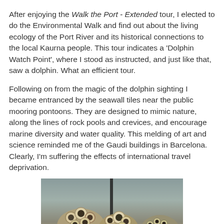After enjoying the Walk the Port - Extended tour, I elected to do the Environmental Walk and find out about the living ecology of the Port River and its historical connections to the local Kaurna people. This tour indicates a 'Dolphin Watch Point', where I stood as instructed, and just like that, saw a dolphin. What an efficient tour.
Following on from the magic of the dolphin sighting I became entranced by the seawall tiles near the public mooring pontoons. They are designed to mimic nature, along the lines of rock pools and crevices, and encourage marine diversity and water quality. This melding of art and science reminded me of the Gaudi buildings in Barcelona. Clearly, I'm suffering the effects of international travel deprivation.
[Figure (photo): Photo of seawall tiles designed to mimic nature, showing textured ceramic or concrete structures with circular/tubular holes resembling rock pools or marine life colonies, photographed in or near water with a blurred background.]